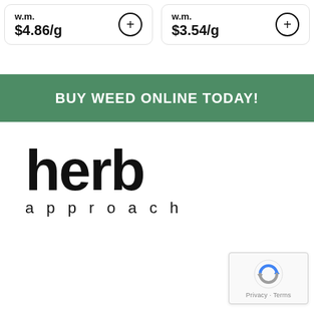$4.86/g
$3.54/g
BUY WEED ONLINE TODAY!
[Figure (logo): herb approach logo — large bold lowercase 'herb' text above smaller spaced 'approach' text]
[Figure (other): reCAPTCHA widget with Privacy · Terms label]